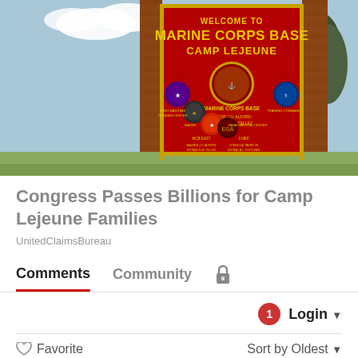[Figure (photo): Welcome to Marine Corps Base Camp Lejeune entrance sign — large red sign with gold lettering and multiple military unit emblems/seals arranged on the sign face, flanked by brick pillars with trees in background]
Congress Passes Billions for Camp Lejeune Families
UnitedClaimsBureau
Comments   Community   🔒
1   Login ▼
♡ Favorite          Sort by Oldest ▼